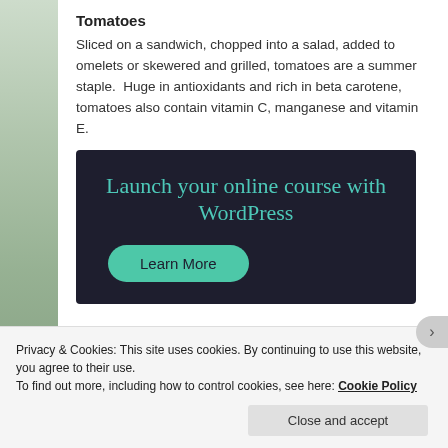Tomatoes
Sliced on a sandwich, chopped into a salad, added to omelets or skewered and grilled, tomatoes are a summer staple.  Huge in antioxidants and rich in beta carotene, tomatoes also contain vitamin C, manganese and vitamin E.
[Figure (illustration): Advertisement banner with dark navy background showing the text 'Launch your online course with WordPress' in teal serif font, with a rounded teal 'Learn More' button below.]
Privacy & Cookies: This site uses cookies. By continuing to use this website, you agree to their use.
To find out more, including how to control cookies, see here: Cookie Policy
Close and accept